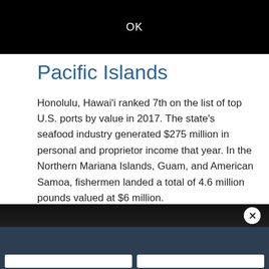OK
Pacific Islands
Honolulu, Hawai'i ranked 7th on the list of top U.S. ports by value in 2017. The state's seafood industry generated $275 million in personal and proprietor income that year. In the Northern Mariana Islands, Guam, and American Samoa, fishermen landed a total of 4.6 million pounds valued at $6 million.
Pacific Islands Region ›
[Figure (screenshot): Dark video player bar with close (X) button]
We'd welcome your feedback! Can we send you a brief survey so we can improve your experience on this website?